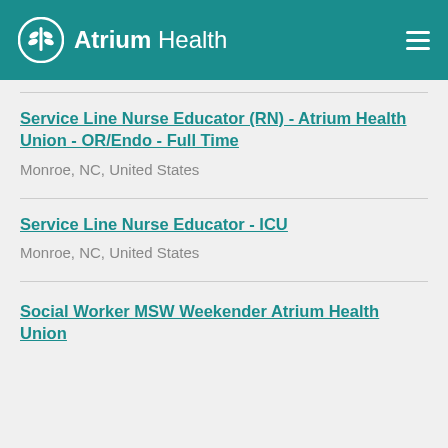Atrium Health
Service Line Nurse Educator (RN) - Atrium Health Union - OR/Endo - Full Time
Monroe, NC, United States
Service Line Nurse Educator - ICU
Monroe, NC, United States
Social Worker MSW Weekender Atrium Health Union